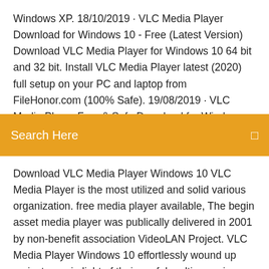Windows XP. 18/10/2019 · VLC Media Player Download for Windows 10 - Free (Latest Version) Download VLC Media Player for Windows 10 64 bit and 32 bit. Install VLC Media Player latest (2020) full setup on your PC and laptop from FileHonor.com (100% Safe). 19/08/2019 · VLC Media Player Free & Safe Download for Windows from RocketFiles.com. A full-featured
[Figure (screenshot): Orange search bar with white text 'Search Here' and a small icon on the right]
Download VLC Media Player Windows 10 VLC Media Player is the most utilized and solid various organization. free media player available, The begin asset media player was publically delivered in 2001 by non-benefit association VideoLAN Project. VLC Media Player Windows 10 effortlessly wound up mainstream in light of their useful multi-organize playback capacities, It was helped by similarity and 15/07/2019 · VLC Media Player (Windows-10-App) 3.2.1 kostenlos in deutscher Version downloaden! Weitere virengeprüfte Software aus der